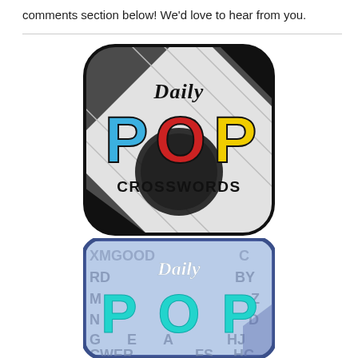comments section below! We'd love to hear from you.
[Figure (logo): Daily POP Crosswords app icon: rounded square with crossword puzzle grid background, black and white diagonal sections, colorful letters P (blue), O (red), P (yellow) with 'Daily' in script above and 'CROSSWORDS' text below]
[Figure (logo): Daily POP word search app icon: rounded square with blue border, letter grid background showing scattered letters, 'Daily' in white script and 'POP' in large teal letters]